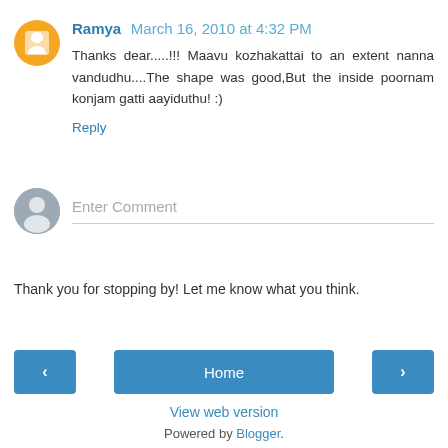Ramya March 16, 2010 at 4:32 PM
Thanks dear.....!!! Maavu kozhakattai to an extent nanna vandudhu....The shape was good,But the inside poornam konjam gatti aayiduthu! :)
Reply
Enter Comment
Thank you for stopping by! Let me know what you think.
Home
View web version
Powered by Blogger.